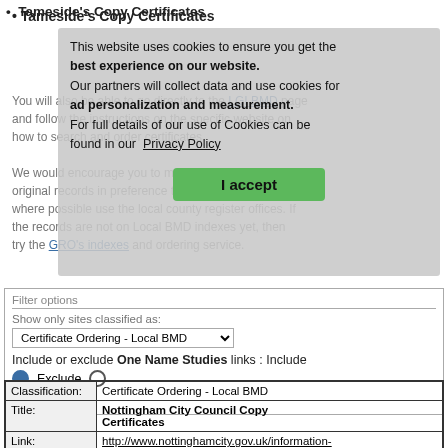Tameside's Copy Certificates
This website uses cookies to ensure you get the best experience on our website. Our partners will collect data and use cookies for ad personalization and measurement. For full details of our use of Cookies can be found in our Privacy Policy
Filter options
Show only sites classified as:
Certificate Ordering - Local BMD
Include or exclude One Name Studies links : Include
Exclude
Apply Filter
| Classification: | Certificate Ordering - Local BMD |
| Title: | Nottingham City Council Copy Certificates |
| Link: | http://www.nottinghamcity.gov.uk/information-for-r... |